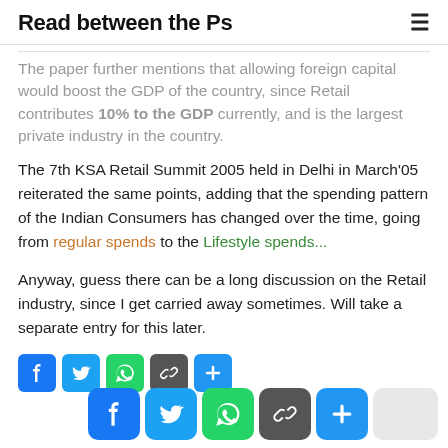Read between the Ps
The paper further mentions that allowing foreign capital would boost the GDP of the country, since Retail contributes 10% to the GDP currently, and is the largest private industry in the country.
The 7th KSA Retail Summit 2005 held in Delhi in March'05 reiterated the same points, adding that the spending pattern of the Indian Consumers has changed over the time, going from regular spends to the Lifestyle spends...
Anyway, guess there can be a long discussion on the Retail industry, since I get carried away sometimes. Will take a separate entry for this later.